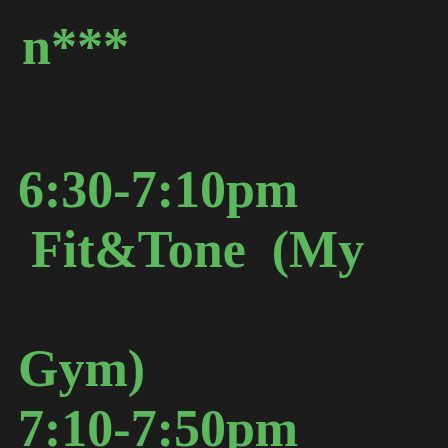n***
6:30-7:10pm Fit&Tone (My Gym) 7:10-7:50pm Corefusion (My